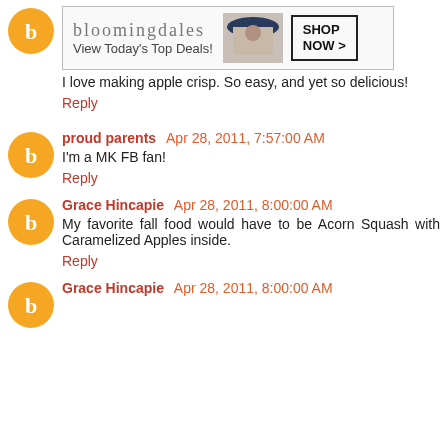[Figure (other): Bloomingdale's advertisement banner with woman in hat and 'View Today's Top Deals!' text and 'SHOP NOW >' button]
I love making apple crisp. So easy, and yet so delicious!
Reply
proud parents  Apr 28, 2011, 7:57:00 AM
I'm a MK FB fan!
Reply
Grace Hincapie  Apr 28, 2011, 8:00:00 AM
My favorite fall food would have to be Acorn Squash with Caramelized Apples inside.
Reply
Grace Hincapie  Apr 28, 2011, 8:00:00 AM